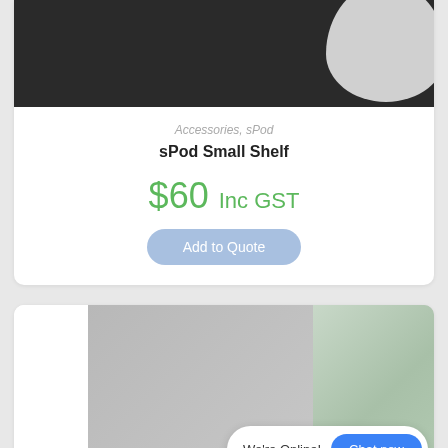[Figure (photo): Top portion of a product card showing a dark background with a rounded white/grey shape in the upper right — part of an sPod Small Shelf product photo]
Accessories, sPod
sPod Small Shelf
$60 Inc GST
Add to Quote
[Figure (photo): Bottom product card showing a grey acoustic panel with a glass panel to the right and a shelf surface at the bottom. A chat widget overlay reads: We're Online! Chat now]